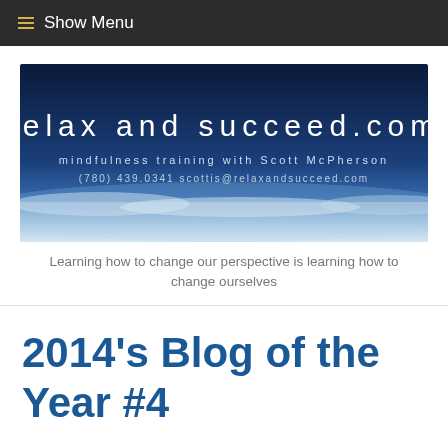☰ Show Menu
[Figure (logo): relax and succeed.com banner with dark blue sky background. Text reads: relax and succeed.com / mindfulness training with Scott McPherson / (780) 439.0341 scottis@relaxandsucceed.com]
Learning how to change our perspective is learning how to change ourselves
2014's Blog of the Year #4